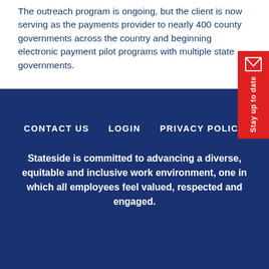The outreach program is ongoing, but the client is now serving as the payments provider to nearly 400 county governments across the country and beginning electronic payment pilot programs with multiple state governments.
[Figure (other): Red vertical tab on right side with envelope icon and rotated text 'Stay up to date']
CONTACT US   LOGIN   PRIVACY POLICY
Stateside is committed to advancing a diverse, equitable and inclusive work environment, one in which all employees feel valued, respected and engaged.